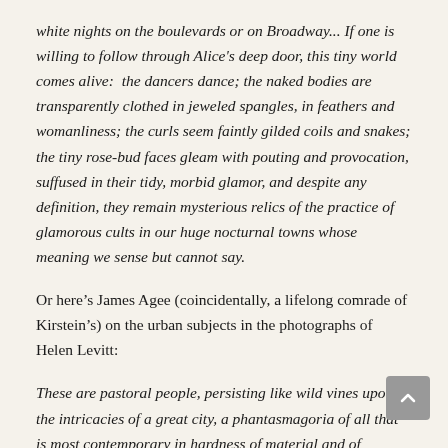white nights on the boulevards or on Broadway... If one is willing to follow through Alice's deep door, this tiny world comes alive:  the dancers dance; the naked bodies are transparently clothed in jeweled spangles, in feathers and womanliness; the curls seem faintly gilded coils and snakes; the tiny rose-bud faces gleam with pouting and provocation, suffused in their tidy, morbid glamor, and despite any definition, they remain mysterious relics of the practice of glamorous cults in our huge nocturnal towns whose meaning we sense but cannot say.
Or here's James Agee (coincidentally, a lifelong comrade of Kirstein's) on the urban subjects in the photographs of Helen Levitt:
These are pastoral people, persisting like wild vines upon the intricacies of a great city, a phantasmagoria of all that is most contemporary in hardness of material and of appetite.  In my opinion they embody with great beauty and fullness not only their own personal and historical selves but also, in fundamental terms, a natural history of the soul, which I presume also to be warm-blooded,